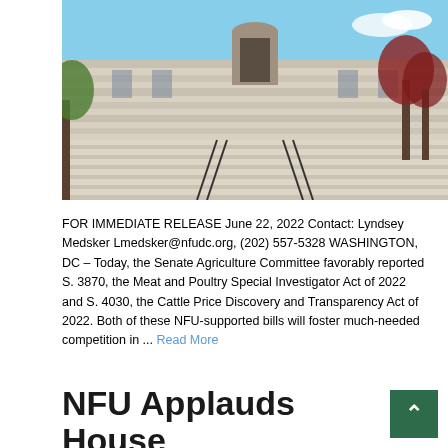[Figure (photo): Photograph of a grand government building with wide white marble steps and classical architecture, likely the U.S. Capitol or similar government building, under a blue sky.]
FOR IMMEDIATE RELEASE June 22, 2022 Contact: Lyndsey Medsker Lmedsker@nfudc.org, (202) 557-5328 WASHINGTON, DC – Today, the Senate Agriculture Committee favorably reported S. 3870, the Meat and Poultry Special Investigator Act of 2022 and S. 4030, the Cattle Price Discovery and Transparency Act of 2022. Both of these NFU-supported bills will foster much-needed competition in ... Read More
NFU Applauds House